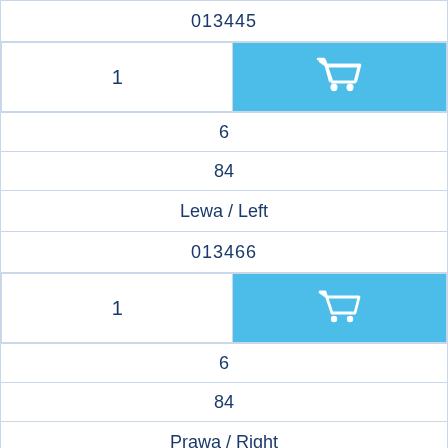| 013445 |
| 1 | [cart icon] |
| 6 |
| 84 |
| Lewa / Left |
| 013466 |
| 1 | [cart icon] |
| 6 |
| 84 |
| Prawa / Right |
| 013446 |
| 1 | [cart icon] |